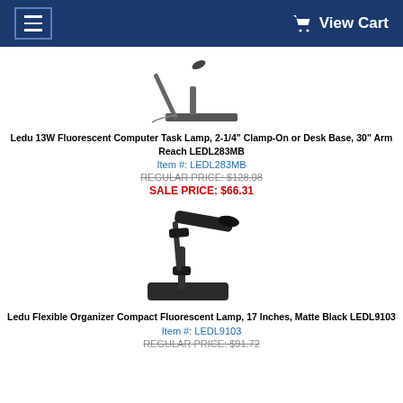View Cart
[Figure (photo): Ledu 13W Fluorescent Computer Task Lamp with 30 inch arm, clamp-on or desk base, shown folded on base, dark gray color]
Ledu 13W Fluorescent Computer Task Lamp, 2-1/4" Clamp-On or Desk Base, 30" Arm Reach LEDL283MB
Item #: LEDL283MB
REGULAR PRICE: $128.08
SALE PRICE: $66.31
[Figure (photo): Ledu Flexible Organizer Compact Fluorescent Lamp, 17 Inches, Matte Black, with articulating arm and tray base]
Ledu Flexible Organizer Compact Fluorescent Lamp, 17 Inches, Matte Black LEDL9103
Item #: LEDL9103
REGULAR PRICE: $91.72